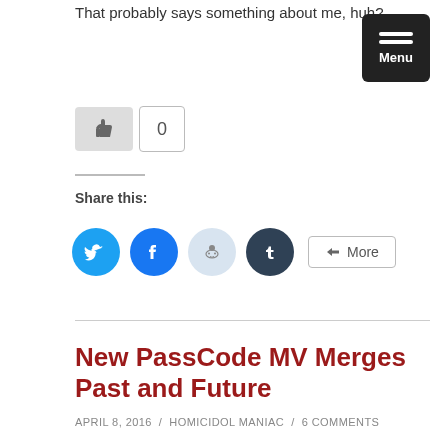That probably says something about me, huh?
[Figure (other): Menu button (hamburger icon) with black background]
[Figure (other): Like/thumbs-up button with count 0]
Share this:
[Figure (other): Social sharing icons: Twitter, Facebook, Reddit, Tumblr, and More button]
New PassCode MV Merges Past and Future
APRIL 8, 2016 / HOMICIDOL MANIAC / 6 COMMENTS
I love idol Friday. There's almost always something cool waiting when I wake up in the morning. For instance, a